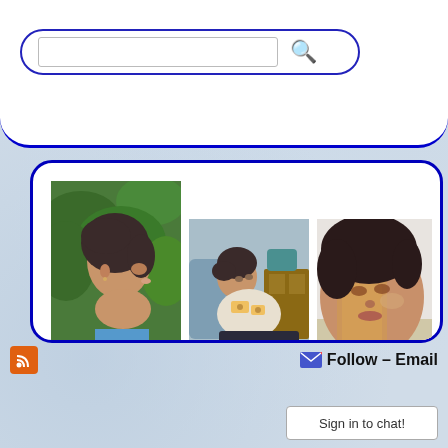[Figure (screenshot): Search bar with text input and magnifying glass icon on white background with blue border]
[Figure (photo): Woman's profile photo outdoors with green foliage background, wearing blue top, dark hair]
5298263446_c3ae1272e9_m
[Figure (photo): Person lying in hospital bed with medical patches/electrodes on torso]
3030972218_1a29121361_m
[Figure (photo): Woman lying in bed, close up face shot, yellow/orange color cast]
3030971324_bd3d4831e_m
Follow – Email
Sign in to chat!